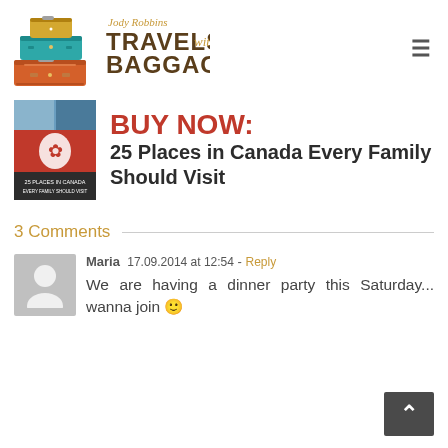Jody Robbins Travels with Baggage
[Figure (logo): Jody Robbins Travels with Baggage logo with stacked suitcases in orange, teal, and brown colors]
[Figure (illustration): Book cover: 25 Places in Canada Every Family Should Visit by Jody Robbins]
BUY NOW: 25 Places in Canada Every Family Should Visit
3 Comments
Maria  17.09.2014 at 12:54 - Reply
We are having a dinner party this Saturday... wanna join 🙂